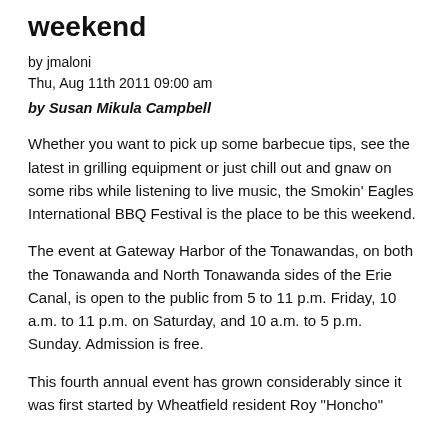weekend
by jmaloni
Thu, Aug 11th 2011 09:00 am
by Susan Mikula Campbell
Whether you want to pick up some barbecue tips, see the latest in grilling equipment or just chill out and gnaw on some ribs while listening to live music, the Smokin' Eagles International BBQ Festival is the place to be this weekend.
The event at Gateway Harbor of the Tonawandas, on both the Tonawanda and North Tonawanda sides of the Erie Canal, is open to the public from 5 to 11 p.m. Friday, 10 a.m. to 11 p.m. on Saturday, and 10 a.m. to 5 p.m. Sunday. Admission is free.
This fourth annual event has grown considerably since it was first started by Wheatfield resident Roy "Honcho"